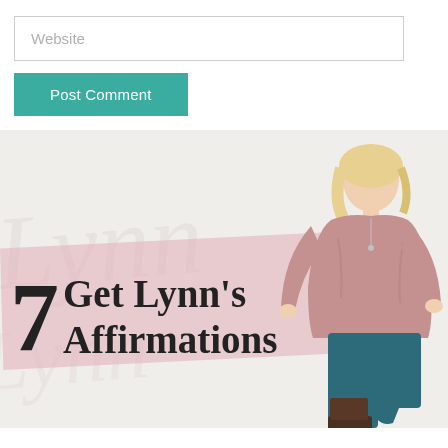Website
Post Comment
[Figure (illustration): Banner image for Lynn's 7 Affirmations promotion. Features a blonde woman in a pink sweater and teal jeans posed confidently. Large bold text reads '7 Get Lynn's Affirmations' over a pink brush stroke background. Watermark cursive signature in the background.]